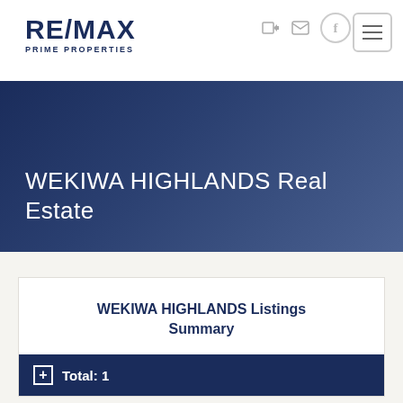[Figure (logo): RE/MAX Prime Properties logo with bold dark navy text]
WEKIWA HIGHLANDS Real Estate
WEKIWA HIGHLANDS Listings Summary
Total: 1